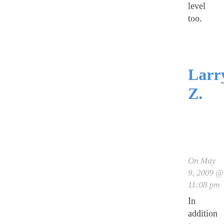level too.
Larry Z.
On May 9, 2009 @ 11:08 pm
In addition to my previous post I'd like to state following